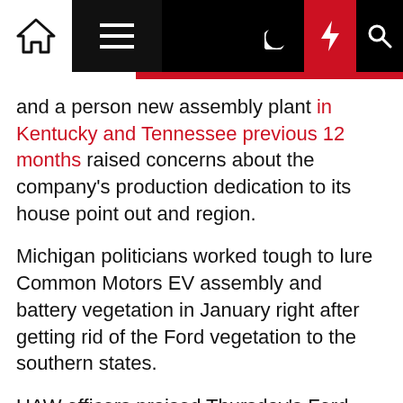Navigation bar with home, menu, moon, lightning, and search icons
and a person new assembly plant in Kentucky and Tennessee previous 12 months raised concerns about the company's production dedication to its house point out and region.
Michigan politicians worked tough to lure Common Motors EV assembly and battery vegetation in January right after getting rid of the Ford vegetation to the southern states.
UAW officers praised Thursday's Ford announcements in a company assertion. "Ford stepped up to the plate by introducing these careers," President Ray Curry explained.
It's probable that Ford will construct a fourth North American battery manufacturing unit in the Terrific Lakes region in a joint enterprise with SK Innovation